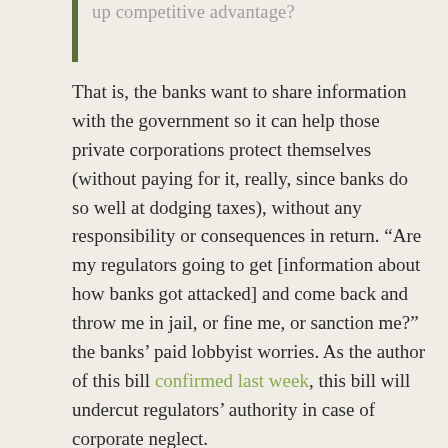up competitive advantage?
That is, the banks want to share information with the government so it can help those private corporations protect themselves (without paying for it, really, since banks do so well at dodging taxes), without any responsibility or consequences in return. “Are my regulators going to get [information about how banks got attacked] and come back and throw me in jail, or fine me, or sanction me?” the banks’ paid lobbyist worries. As the author of this bill confirmed last week, this bill will undercut regulators’ authority in case of corporate neglect.
The example of banks dodging responsibility in the past — possibly aided by a similar (albeit more rigorous) information sharing regime under the Bank